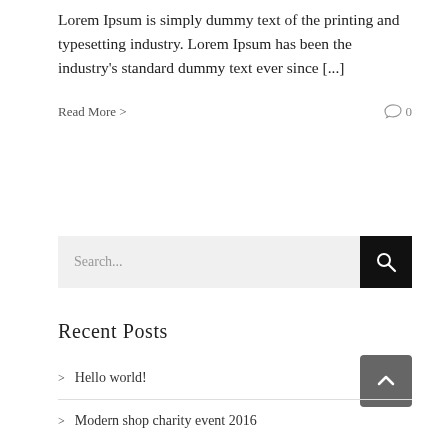Lorem Ipsum is simply dummy text of the printing and typesetting industry. Lorem Ipsum has been the industry's standard dummy text ever since [...]
Read More > 0
[Figure (screenshot): Search bar with grey input field showing 'Search...' placeholder and black search button with magnifying glass icon]
Recent Posts
> Hello world!
> Modern shop charity event 2016